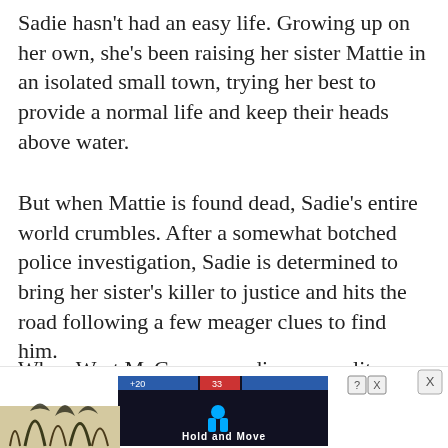Sadie hasn't had an easy life. Growing up on her own, she's been raising her sister Mattie in an isolated small town, trying her best to provide a normal life and keep their heads above water.
But when Mattie is found dead, Sadie's entire world crumbles. After a somewhat botched police investigation, Sadie is determined to bring her sister's killer to justice and hits the road following a few meager clues to find him.
When West McCray—a radio personality working on a segment about small, forgotten towns in America—overhears Sadie's story at a
[Figure (screenshot): Advertisement banner at bottom of page showing 'Hold and Move' app/game with dark background, blue figures icon, and ad control buttons]